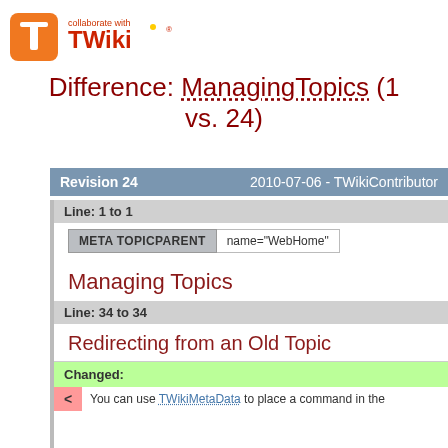[Figure (logo): TWiki logo with orange T icon and 'collaborate with TWiki' text in red and orange]
Difference: ManagingTopics (1 vs. 24)
Revision 24    2010-07-06 - TWikiContributor
Line: 1 to 1
| META TOPICPARENT | name="WebHome" |
| --- | --- |
Managing Topics
Line: 34 to 34
Redirecting from an Old Topic
Changed:
< You can use TWikiMetaData to place a command in the